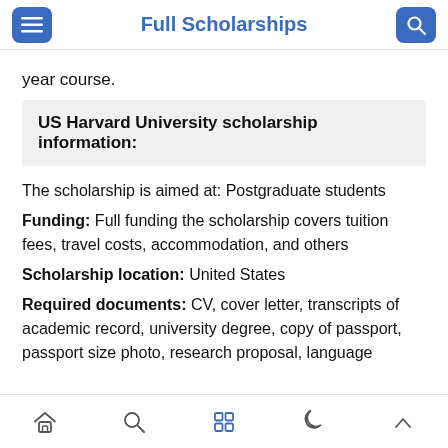Full Scholarships
year course.
US Harvard University scholarship information:
The scholarship is aimed at: Postgraduate students
Funding: Full funding the scholarship covers tuition fees, travel costs, accommodation, and others
Scholarship location: United States
Required documents: CV, cover letter, transcripts of academic record, university degree, copy of passport, passport size photo, research proposal, language
Home Search Grid Moon Up